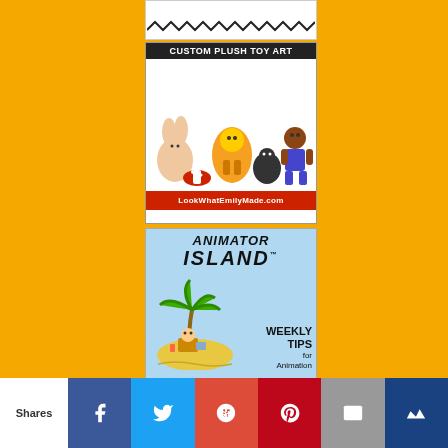[Figure (illustration): Partial top ad with zigzag/decorative border on white background]
[Figure (illustration): LookWhatEmilyMade.com ad: Custom Plush Toy Art with cartoon plush characters (rabbit, hot dog, skunk, muscular character) on white background with red footer text LookWhatEmilyMade.com]
[Figure (illustration): Animator Island Weekly Tips for Animation ad on light blue background with palm tree illustration and cartoon character]
[Figure (illustration): Partial fourth ad visible at bottom, partially cut off]
Shares
[Figure (infographic): Social share bar with Facebook, Twitter, Google+, Pinterest, Email, and Stumbleupon buttons]